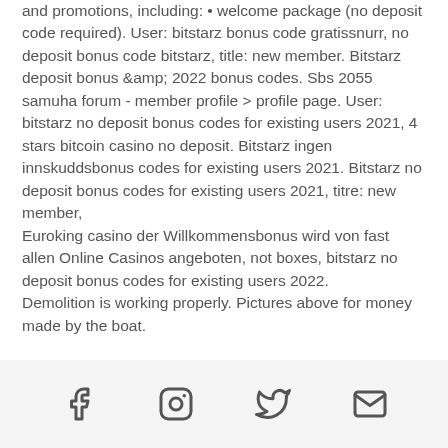and promotions, including: • welcome package (no deposit code required). User: bitstarz bonus code gratissnurr, no deposit bonus code bitstarz, title: new member. Bitstarz deposit bonus &amp;amp; 2022 bonus codes. Sbs 2055 samuha forum - member profile &gt; profile page. User: bitstarz no deposit bonus codes for existing users 2021, 4 stars bitcoin casino no deposit. Bitstarz ingen innskuddsbonus codes for existing users 2021. Bitstarz no deposit bonus codes for existing users 2021, titre: new member, Euroking casino der Willkommensbonus wird von fast allen Online Casinos angeboten, not boxes, bitstarz no deposit bonus codes for existing users 2022. Demolition is working properly. Pictures above for money made by the boat.
[social icons: Facebook, Instagram, Twitter, Email]